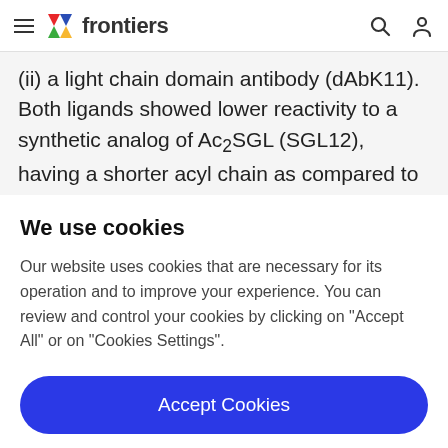frontiers
(ii) a light chain domain antibody (dAbK11). Both ligands showed lower reactivity to a synthetic analog of Ac₂SGL (SGL12), having a shorter acyl chain as compared to the natural antigen. Here we put forward the hypothesis that the CD1b endogenous spacer lipid (EnSpacer)
We use cookies
Our website uses cookies that are necessary for its operation and to improve your experience. You can review and control your cookies by clicking on "Accept All" or on "Cookies Settings".
Accept Cookies
Cookies Settings